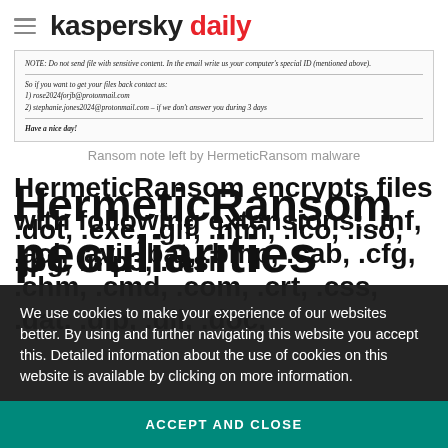kaspersky daily
[Figure (screenshot): Ransom note left by HermeticRansom malware showing email contact instructions in italic font with horizontal rules]
Ransom note left by HermeticRansom malware
HermeticRansom encrypts files with following extensions: .inf, .acl, .avi, .bat, .bmp, .cab, .cfg, .chm, .cmd, .com, .crt, .css, .dat, .dip, .dll, .doc, .dot, .exe, .gif, .htm, .ico, .iso, .jpg, .mp3, .msi
We use cookies to make your experience of our websites better. By using and further navigating this website you accept this. Detailed information about the use of cookies on this website is available by clicking on more information.
ACCEPT AND CLOSE
HermeticRansom
peculiarities